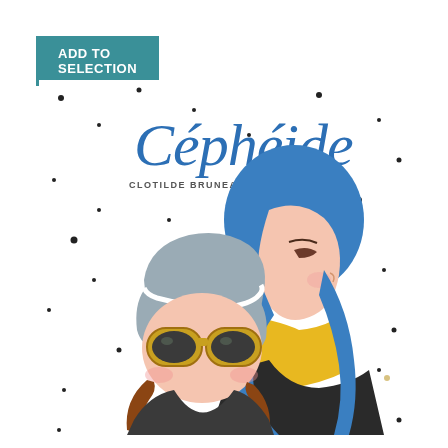ADD TO SELECTION
[Figure (illustration): Book cover of 'Céphéide' by Clotilde Bruneau and Mélissa Morin. Large blue handwritten-style title 'Céphéide' at top. Below the title, authors' names 'CLOTILDE BRUNEAU / MÉLISSA MORIN'. Illustrated comic-style artwork showing two characters: one with blue hair wearing a yellow-collared black jacket shown in profile, and one shorter character with brown braids wearing a grey winter hat with gold round goggles. White background with scattered small black dots/specks.]